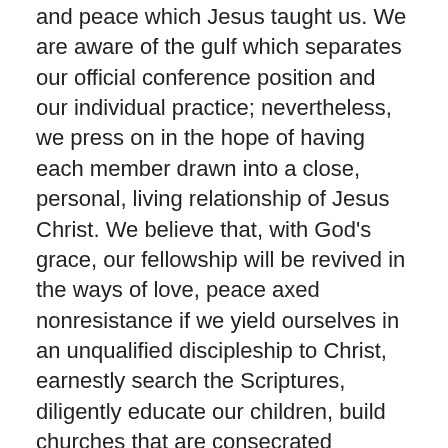and peace which Jesus taught us. We are aware of the gulf which separates our official conference position and our individual practice; nevertheless, we press on in the hope of having each member drawn into a close, personal, living relationship of Jesus Christ. We believe that, with God's grace, our fellowship will be revived in the ways of love, peace axed nonresistance if we yield ourselves in an unqualified discipleship to Christ, earnestly search the Scriptures, diligently educate our children, build churches that are consecrated brotherhoods, permeate our communities with Christian patterns of living, and move forward in a mighty thrust of teaching, preaching, healing and service.
To the Christians of all communions we affirm that our Lord is pleading with his Church for a break with war and that He is calling His children to a life of love, nonresistance and peacemaking In Christ. We appeal to all men to search reverently the Scriptures, to respond affirmatively to the claims of Christ, and to work and pray that Christ's